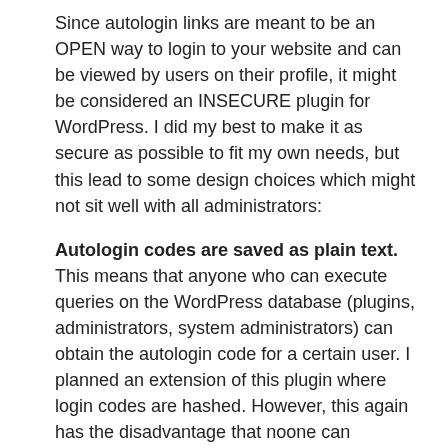Since autologin links are meant to be an OPEN way to login to your website and can be viewed by users on their profile, it might be considered an INSECURE plugin for WordPress. I did my best to make it as secure as possible to fit my own needs, but this lead to some design choices which might not sit well with all administrators:
Autologin codes are saved as plain text. This means that anyone who can execute queries on the WordPress database (plugins, administrators, system administrators) can obtain the autologin code for a certain user. I planned an extension of this plugin where login codes are hashed. However, this again has the disadvantage that noone can redisplay a once